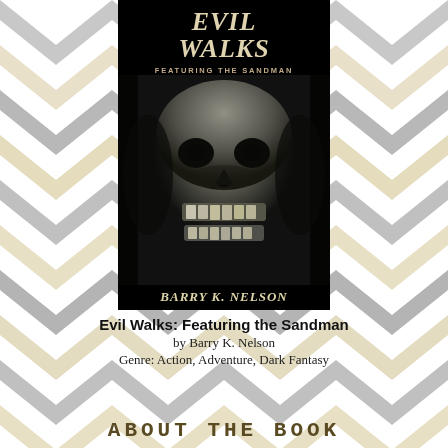[Figure (illustration): Chevron zigzag pattern background in grey and beige/cream colors]
[Figure (photo): Book cover for 'Evil Walks: Featuring the Sandman' by Barry K. Nelson. Black background with large metallic skull face. Title text at top in serif font, author name at bottom.]
Evil Walks: Featuring the Sandman
by Barry K. Nelson
Genre: Action, Adventure, Dark Fantasy
ABOUT THE BOOK